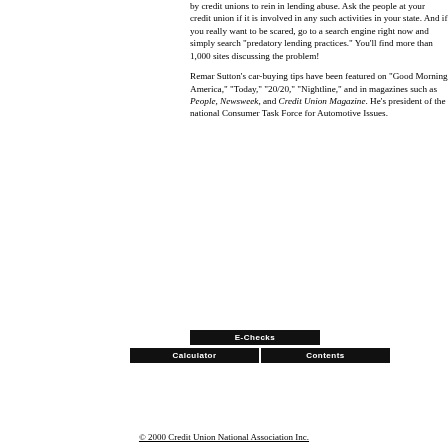by credit unions to rein in lending abuse. Ask the people at your credit union if it is involved in any such activities in your state. And if you really want to be scared, go to a search engine right now and simply search "predatory lending practices." You'll find more than 1,000 sites discussing the problem!
Remar Sutton's car-buying tips have been featured on "Good Morning America," "Today," "20/20," "Nightline," and in magazines such as People, Newsweek, and Credit Union Magazine. He's president of the national Consumer Task Force for Automotive Issues.
[Figure (screenshot): Navigation buttons: E-Checks button on top, Calculator and Contents buttons below]
© 2000 Credit Union National Association Inc.